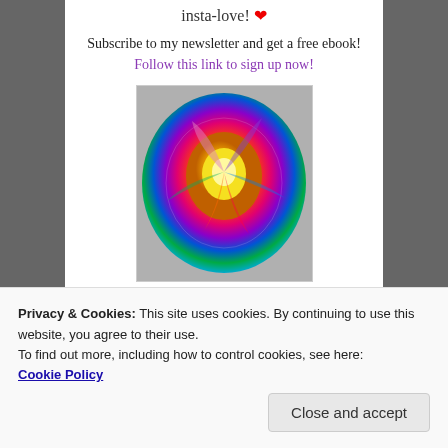insta-love! ❤
Subscribe to my newsletter and get a free ebook!
Follow this link to sign up now!
[Figure (photo): A rainbow-colored rose with multicolored petals in purple, blue, yellow, orange, green, and red]
PASS IT ON:
[Figure (infographic): Social sharing buttons: Twitter, Pinterest, Facebook, Email, Tumblr, Print, and More]
Privacy & Cookies: This site uses cookies. By continuing to use this website, you agree to their use.
To find out more, including how to control cookies, see here: Cookie Policy
Close and accept